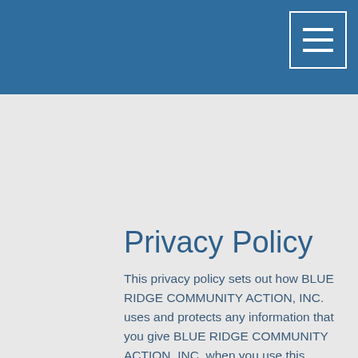Privacy Policy
This privacy policy sets out how BLUE RIDGE COMMUNITY ACTION, INC. uses and protects any information that you give BLUE RIDGE COMMUNITY ACTION, INC. when you use this website. BLUE RIDGE COMMUNITY ACTION, INC. is committed to ensuring that your privacy is protected. Should we ask you to provide certain information by which you can be identified when using this